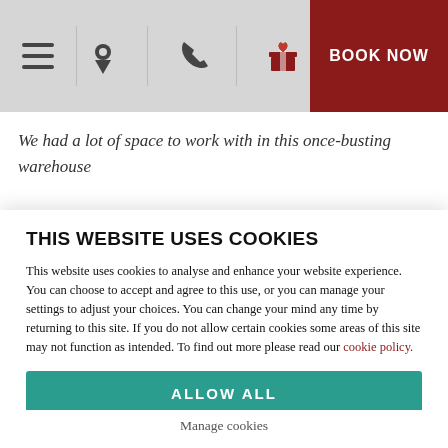Navigation bar with hamburger menu, location, phone, gift icons, and BOOK NOW button
We had a lot of space to work with in this once-busting warehouse
THIS WEBSITE USES COOKIES
This website uses cookies to analyse and enhance your website experience. You can choose to accept and agree to this use, or you can manage your settings to adjust your choices. You can change your mind any time by returning to this site. If you do not allow certain cookies some areas of this site may not function as intended. To find out more please read our cookie policy.
ALLOW ALL
Manage cookies